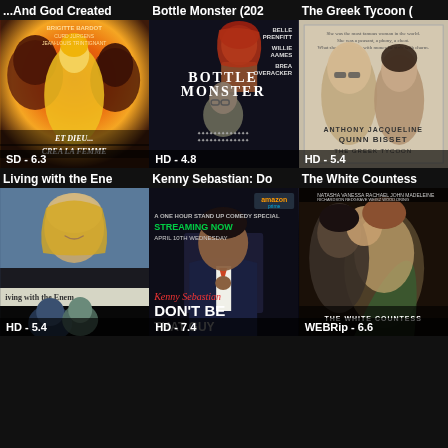...And God Created
[Figure (photo): Movie poster for 'Et Dieu... Crea La Femme' showing a woman in yellow dress with dark figures, rated SD - 6.3]
Bottle Monster (202
[Figure (photo): Movie poster for 'Bottle Monster' showing dark thriller imagery, rated HD - 4.8]
The Greek Tycoon (
[Figure (photo): Movie poster for 'The Greek Tycoon' with Anthony Quinn and Jacqueline Bisset, rated HD - 5.4]
Living with the Ene
[Figure (photo): Movie poster for 'Living with the Enemy' showing a blonde woman, rated HD - 5.4]
Kenny Sebastian: Do
[Figure (photo): Movie poster for Kenny Sebastian's comedy special 'Don't Be That Guy' on Amazon Prime, rated HD - 7.4]
The White Countess
[Figure (photo): Movie poster for 'The White Countess' showing a couple embracing, rated WEBRip - 6.6]